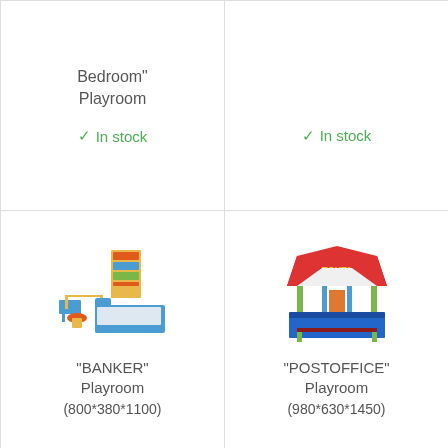Bedroom" Playroom
✓ In stock
✓ In stock
[Figure (illustration): Colorful wooden children's furniture set including a bookshelf, desk, stool, and a blue couch/bed – BANKER playroom set]
"BANKER" Playroom (800*380*1100)
[Figure (illustration): Colorful toy post office kiosk with red roof labeled ПОЧТА (post), blue counter, and yellow-green supports – POSTOFFICE playroom set]
"POSTOFFICE" Playroom (980*630*1450)